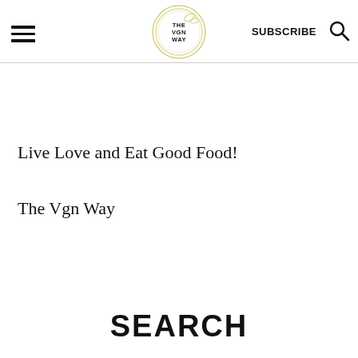THE VGN WAY — navigation header with hamburger menu, logo, SUBSCRIBE, and search icon
[Figure (logo): The Vgn Way circular logo with yellow-green and beige rings, bee icon, and text THE VGN WAY in center]
Live Love and Eat Good Food!
The Vgn Way
SEARCH